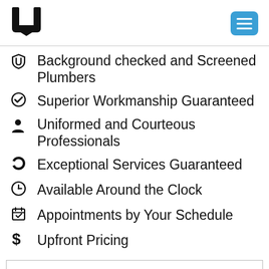U logo and menu button
Background checked and Screened Plumbers
Superior Workmanship Guaranteed
Uniformed and Courteous Professionals
Exceptional Services Guaranteed
Available Around the Clock
Appointments by Your Schedule
Upfront Pricing